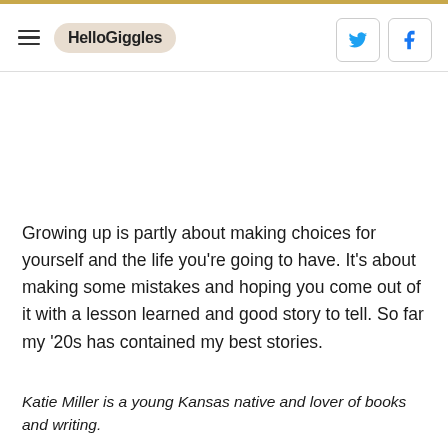HelloGiggles
Growing up is partly about making choices for yourself and the life you're going to have. It's about making some mistakes and hoping you come out of it with a lesson learned and good story to tell. So far my '20s has contained my best stories.
Katie Miller is a young Kansas native and lover of books and writing.